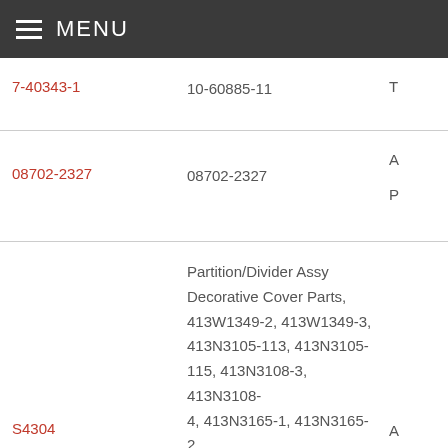MENU
| Part Number | Description |  |
| --- | --- | --- |
| 7-40343-1 | 10-60885-11 | T |
| 08702-2327 | 08702-2327 | A
P |
| S4304 | Partition/Divider Assy Decorative Cover Parts, 413W1349-2, 413W1349-3, 413N3105-113, 413N3105-115, 413N3108-3, 413N3108-4, 413N3165-1, 413N3165-2, 413N3210-164, 413N3210-166, 413N3210-222, 413N3301-17, 413N3301-18, 413N3301-3, 413N3301-4 | A |